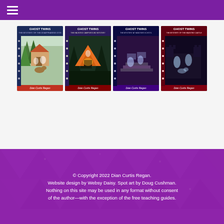[Figure (illustration): Four Ghost Twins book covers displayed in a row: 'The Mystery of the Disappearing Dog', 'The Haunted Campground Mystery', 'The Mystery at Hanover School', 'The Mystery of the Haunted Castle' — all authored by Dian Curtis Regan.]
© Copyright 2022 Dian Curtis Regan. Website design by Websy Daisy. Spot art by Doug Cushman. Nothing on this site may be used in any format without consent of the author—with the exception of the free teaching guides.